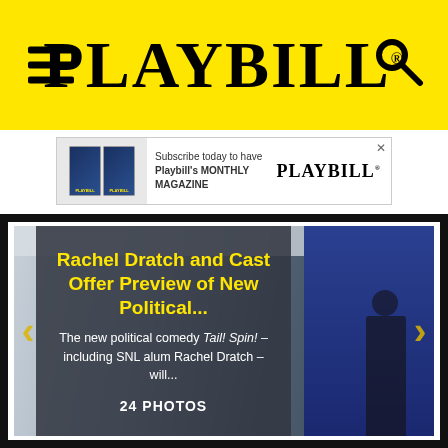PLAYBILL
[Figure (screenshot): Playbill advertisement banner: Subscribe today to have Playbill's MONTHLY MAGAZINE with PLAYBILL logo]
[Figure (photo): Slideshow panel showing Rachel Dratch and Cast Offer Preview of New Political... with text about the new political comedy Tail! Spin! including SNL alum Rachel Dratch, showing 24 PHOTOS. Navigation arrows on left and right sides.]